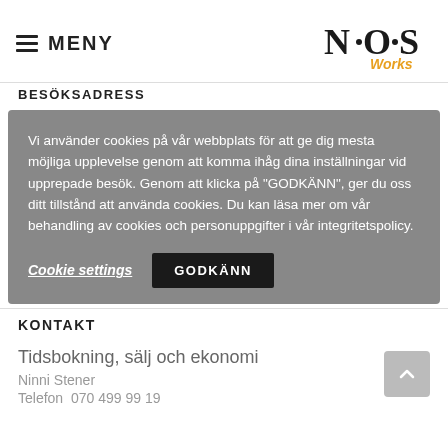≡ MENY
[Figure (logo): N·O·S Works logo with stylized black serif letters and orange italic 'Works' text]
BESÖKSADRESS
Vi använder cookies på vår webbplats för att ge dig mesta möjliga upplevelse genom att komma ihåg dina inställningar vid upprepade besök. Genom att klicka på "GODKÄNN", ger du oss ditt tillstånd att använda cookies. Du kan läsa mer om vår behandling av cookies och personuppgifter i vår integritetspolicy.
Cookie settings  GODKÄNN
KONTAKT
Tidsbokning, sälj och ekonomi
Ninni Stener
Telefon  070 499 99 19